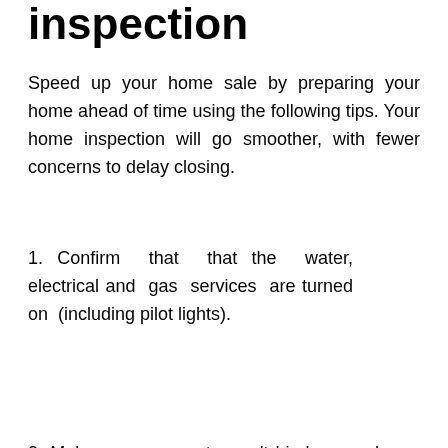inspection
Speed up your home sale by preparing your home ahead of time using the following tips. Your home inspection will go smoother, with fewer concerns to delay closing.
1. Confirm that that the water, electrical and gas services are turned on (including pilot lights).
[Figure (illustration): Cartoon detective character wearing a brown deerstalker hat and holding a magnifying glass, with wide googly eyes.]
2. Make sure your pets won't hinder your home inspection. Ideally, they should be removed from the premises or secured outside. Tell